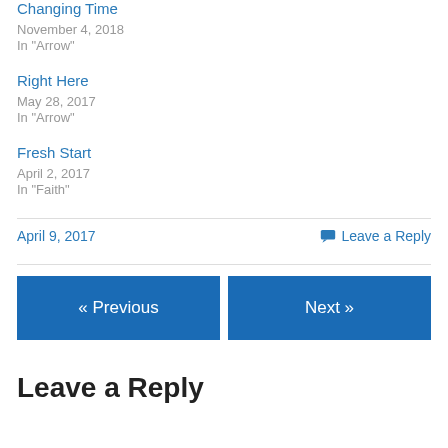Changing Time
November 4, 2018
In "Arrow"
Right Here
May 28, 2017
In "Arrow"
Fresh Start
April 2, 2017
In "Faith"
April 9, 2017
Leave a Reply
« Previous
Next »
Leave a Reply